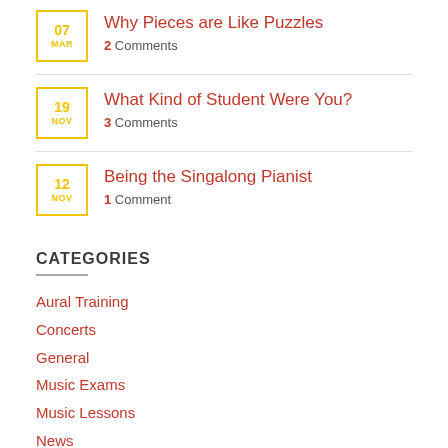07 MAR — Why Pieces are Like Puzzles — 2 Comments
19 NOV — What Kind of Student Were You? — 3 Comments
12 NOV — Being the Singalong Pianist — 1 Comment
CATEGORIES
Aural Training
Concerts
General
Music Exams
Music Lessons
News
Newsletter
Piano Lessons